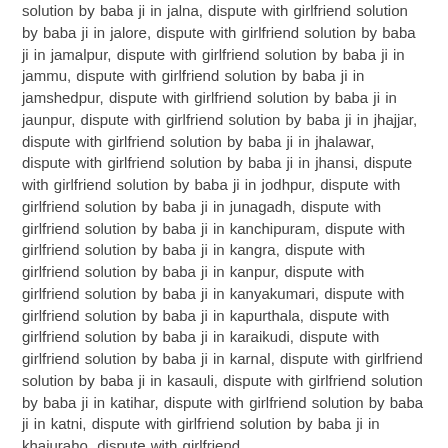solution by baba ji in jalna, dispute with girlfriend solution by baba ji in jalore, dispute with girlfriend solution by baba ji in jamalpur, dispute with girlfriend solution by baba ji in jammu, dispute with girlfriend solution by baba ji in jamshedpur, dispute with girlfriend solution by baba ji in jaunpur, dispute with girlfriend solution by baba ji in jhajjar, dispute with girlfriend solution by baba ji in jhalawar, dispute with girlfriend solution by baba ji in jhansi, dispute with girlfriend solution by baba ji in jodhpur, dispute with girlfriend solution by baba ji in junagadh, dispute with girlfriend solution by baba ji in kanchipuram, dispute with girlfriend solution by baba ji in kangra, dispute with girlfriend solution by baba ji in kanpur, dispute with girlfriend solution by baba ji in kanyakumari, dispute with girlfriend solution by baba ji in kapurthala, dispute with girlfriend solution by baba ji in karaikudi, dispute with girlfriend solution by baba ji in karnal, dispute with girlfriend solution by baba ji in kasauli, dispute with girlfriend solution by baba ji in katihar, dispute with girlfriend solution by baba ji in katni, dispute with girlfriend solution by baba ji in khajuraho, dispute with girlfriend